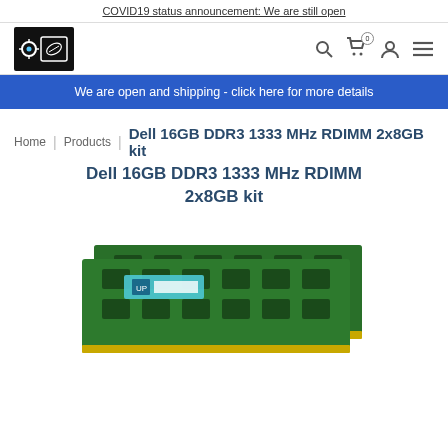COVID19 status announcement: We are still open
[Figure (logo): Upgrade Paradise logo — white palm frond and circuit-pin icon on black background]
We are open and shipping - click here for more details
Home | Products | Dell 16GB DDR3 1333 MHz RDIMM 2x8GB kit
Dell 16GB DDR3 1333 MHz RDIMM 2x8GB kit
[Figure (photo): Two green DDR3 RDIMM RAM sticks with Upgrade Paradise label, overlapping, gold pins visible at bottom]